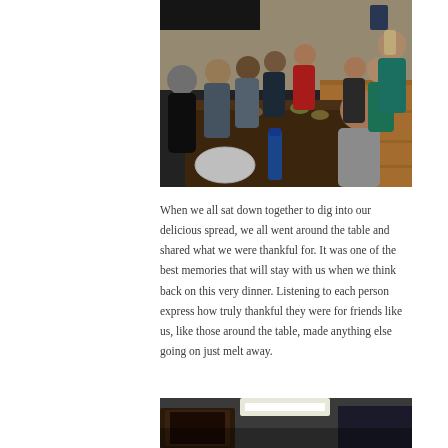[Figure (photo): Group of people sitting around a long dining table sharing a meal in a restaurant setting, with food and drinks on the table.]
When we all sat down together to dig into our delicious spread, we all went around the table and shared what we were thankful for. It was one of the best memories that will stay with us when we think back on this very dinner. Listening to each person express how truly thankful they were for friends like us, like those around the table, made anything else going on just melt away.
[Figure (photo): Partial view of a room interior, likely a restaurant or dining area, showing dark furniture and ceiling lighting.]